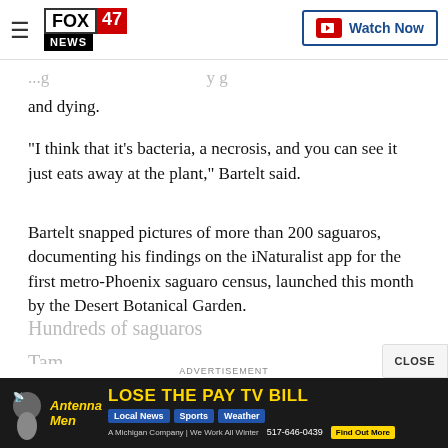FOX 47 NEWS | Watch Now
and dying.
"I think that it’s bacteria, a necrosis, and you can see it just eats away at the plant," Bartelt said.
Bartelt snapped pictures of more than 200 saguaros, documenting his findings on the iNaturalist app for the first metro-Phoenix saguaro census, launched this month by the Desert Botanical Garden.
[Figure (screenshot): Advertisement banner: Antenna Men - LOSE THE PAY TV BILL, Local News Sports Weather, A Michigan Company | We Work All Winter, 517-646-0439, Find Out More button]
Hundreds of saguaros
Tam